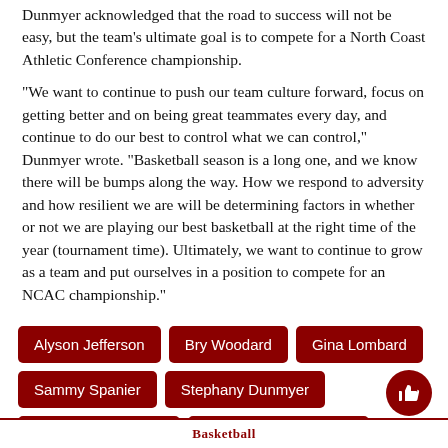Dunmyer acknowledged that the road to success will not be easy, but the team's ultimate goal is to compete for a North Coast Athletic Conference championship.
"We want to continue to push our team culture forward, focus on getting better and on being great teammates every day, and continue to do our best to control what we can control," Dunmyer wrote. "Basketball season is a long one, and we know there will be bumps along the way. How we respond to adversity and how resilient we are will be determining factors in whether or not we are playing our best basketball at the right time of the year (tournament time). Ultimately, we want to continue to grow as a team and put ourselves in a position to compete for an NCAC championship."
Alyson Jefferson
Bry Woodard
Gina Lombard
Sammy Spanier
Stephany Dunmyer
women's basketball
Zoë Martin del Campo
Basketball